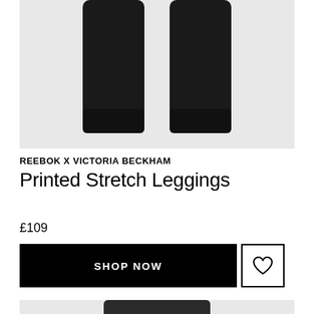[Figure (photo): Black printed stretch leggings laid flat against a light grey background, showing both legs from waist to ankle.]
REEBOK X VICTORIA BECKHAM
Printed Stretch Leggings
£109
SHOP NOW
[Figure (photo): Partial view of black stretch shorts or leggings waistband against a light grey background.]